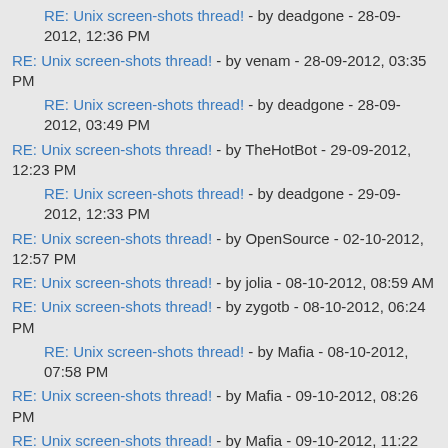RE: Unix screen-shots thread! - by deadgone - 28-09-2012, 12:36 PM
RE: Unix screen-shots thread! - by venam - 28-09-2012, 03:35 PM
RE: Unix screen-shots thread! - by deadgone - 28-09-2012, 03:49 PM
RE: Unix screen-shots thread! - by TheHotBot - 29-09-2012, 12:23 PM
RE: Unix screen-shots thread! - by deadgone - 29-09-2012, 12:33 PM
RE: Unix screen-shots thread! - by OpenSource - 02-10-2012, 12:57 PM
RE: Unix screen-shots thread! - by jolia - 08-10-2012, 08:59 AM
RE: Unix screen-shots thread! - by zygotb - 08-10-2012, 06:24 PM
RE: Unix screen-shots thread! - by Mafia - 08-10-2012, 07:58 PM
RE: Unix screen-shots thread! - by Mafia - 09-10-2012, 08:26 PM
RE: Unix screen-shots thread! - by Mafia - 09-10-2012, 11:22 PM